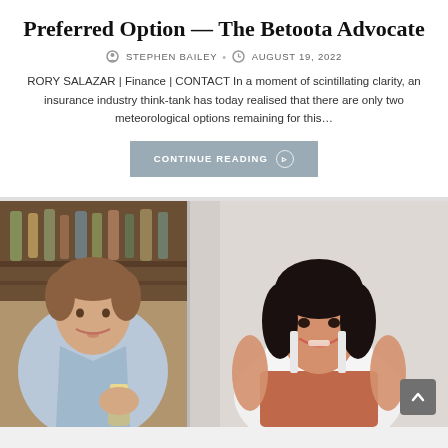Preferred Option — The Betoota Advocate
⊙ STEPHEN BAILEY · ⊙ AUGUST 19, 2022
RORY SALAZAR | Finance | CONTACT In a moment of scintillating clarity, an insurance industry think-tank has today realised that there are only two meteorological options remaining for this...
CONTINUE READING ▶
[Figure (photo): Young man with light blue shirt holding a beer glass, seated at a bar with bottles in the background]
[Figure (photo): Asian woman with dark bob hair smiling, wearing white sleeveless top and rust-colored skirt, sitting on a light background]